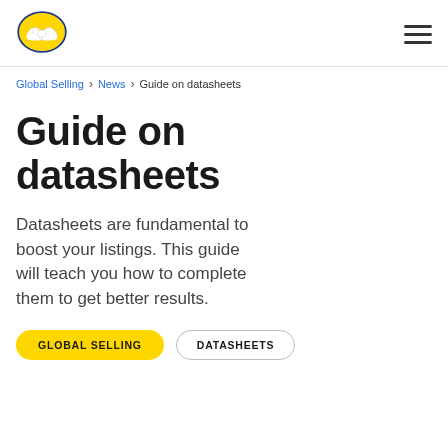MercadoLibre logo and hamburger menu
Global Selling > News > Guide on datasheets
Guide on datasheets
Datasheets are fundamental to boost your listings. This guide will teach you how to complete them to get better results.
GLOBAL SELLING
DATASHEETS